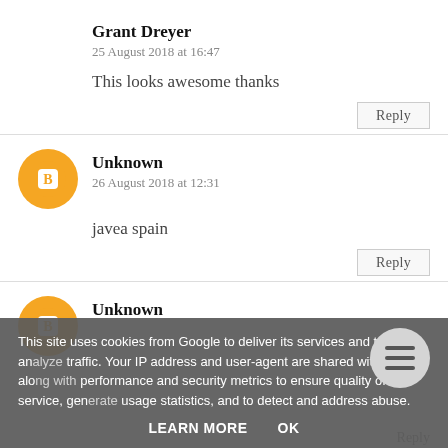Grant Dreyer
25 August 2018 at 16:47
This looks awesome thanks
Reply
Unknown
26 August 2018 at 12:31
javea spain
Reply
Unknown
This site uses cookies from Google to deliver its services and to analyze traffic. Your IP address and user-agent are shared with Google along with performance and security metrics to ensure quality of service, generate usage statistics, and to detect and address abuse.
LEARN MORE
OK
Reply